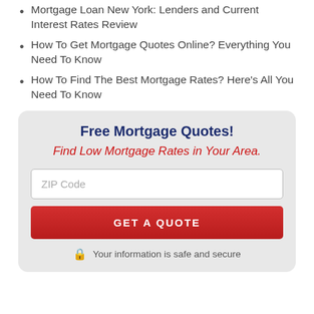Mortgage Loan New York: Lenders and Current Interest Rates Review
How To Get Mortgage Quotes Online? Everything You Need To Know
How To Find The Best Mortgage Rates? Here's All You Need To Know
[Figure (infographic): Call-to-action box with gray rounded background. Title: 'Free Mortgage Quotes!' in dark blue bold. Subtitle: 'Find Low Mortgage Rates in Your Area.' in red italic. A ZIP Code input field. A red 'GET A QUOTE' button. Below: a lock icon with 'Your information is safe and secure' text.]